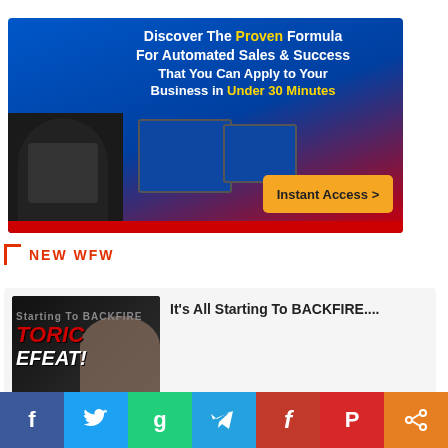[Figure (infographic): Blue and red banner ad: 'Discover The Proven Formula For Automated Sales & Success That You Can Apply to Your Business in Under 30 Minutes' with Instant Access button, person in black shirt, and computer screens]
NEW WFW
[Figure (screenshot): Thumbnail image with dark background, text 'HISTORIC DEFEAT!' in bold red/white italic letters, YouTube play icon and a woman's face visible in background]
It's All Starting To BACKFIRE....
[Figure (infographic): Social sharing bar with icons for Facebook (blue), Twitter (light blue), Gab (green), Telegram (blue), Flipboard (red), Parler (red), and Share (orange)]